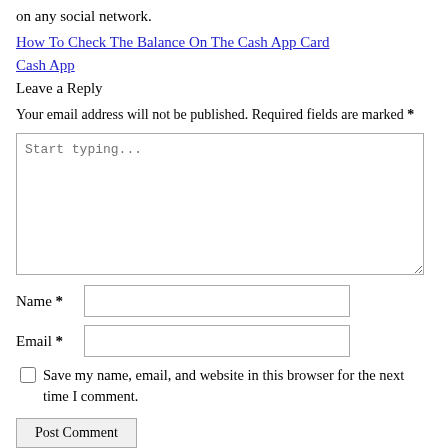on any social network.
How To Check The Balance On The Cash App Card Cash App
Leave a Reply
Your email address will not be published. Required fields are marked *
[Figure (screenshot): Text area input field with placeholder text 'Start typing...']
Name *
Email *
Save my name, email, and website in this browser for the next time I comment.
Post Comment